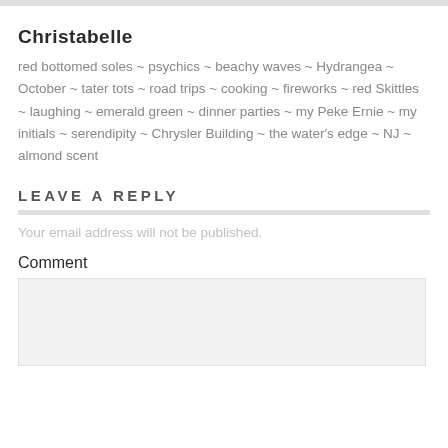Christabelle
red bottomed soles ~ psychics ~ beachy waves ~ Hydrangea ~ October ~ tater tots ~ road trips ~ cooking ~ fireworks ~ red Skittles ~ laughing ~ emerald green ~ dinner parties ~ my Peke Ernie ~ my initials ~ serendipity ~ Chrysler Building ~ the water's edge ~ NJ ~ almond scent
LEAVE A REPLY
Your email address will not be published.
Comment